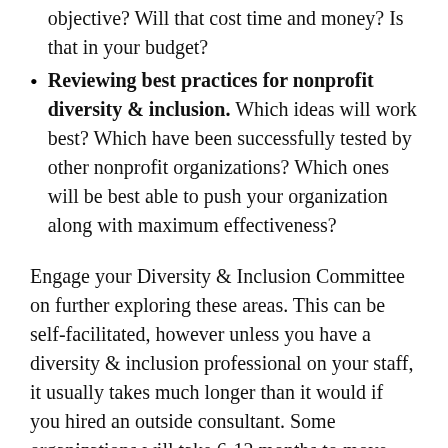objective? Will that cost time and money? Is that in your budget?
Reviewing best practices for nonprofit diversity & inclusion. Which ideas will work best? Which have been successfully tested by other nonprofit organizations? Which ones will be best able to push your organization along with maximum effectiveness?
Engage your Diversity & Inclusion Committee on further exploring these areas. This can be self-facilitated, however unless you have a diversity & inclusion professional on your staff, it usually takes much longer than it would if you hired an outside consultant. Some organizations will take 6-12 months to move from ideas to concrete plan. This can reduce energy and excitement about the work and feed the fears of staff who have been through unsuccessful diversity and inclusion efforts in the